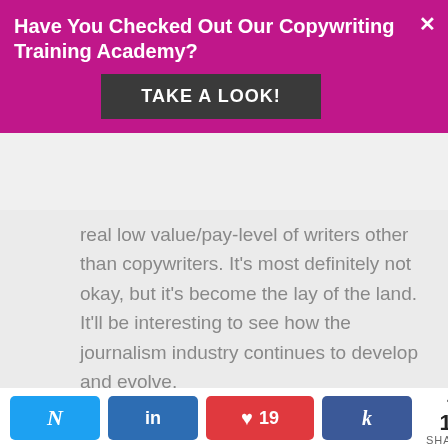Have You Checked Out Our Copywriting Training Academy?
TAKE A LOOK!
real low value/pay-level of writers other than copywriters. It's most definitely not okay, but it's become the lay of the land. It'll be interesting to see how the journalism industry continues to develop and evolve.
Thanks for commenting!
Nicki
Reply
N  in  ♥ 19  k  < 19 SHARES